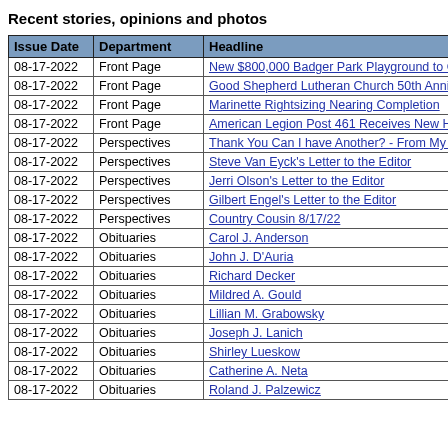Recent stories, opinions and photos
| Issue Date | Department | Headline |
| --- | --- | --- |
| 08-17-2022 | Front Page | New $800,000 Badger Park Playground to Open |
| 08-17-2022 | Front Page | Good Shepherd Lutheran Church 50th Anniversa... |
| 08-17-2022 | Front Page | Marinette Rightsizing Nearing Completion |
| 08-17-2022 | Front Page | American Legion Post 461 Receives New Honor... |
| 08-17-2022 | Perspectives | Thank You Can I have Another? - From My Windo... |
| 08-17-2022 | Perspectives | Steve Van Eyck's Letter to the Editor |
| 08-17-2022 | Perspectives | Jerri Olson's Letter to the Editor |
| 08-17-2022 | Perspectives | Gilbert Engel's Letter to the Editor |
| 08-17-2022 | Perspectives | Country Cousin 8/17/22 |
| 08-17-2022 | Obituaries | Carol J. Anderson |
| 08-17-2022 | Obituaries | John J. D'Auria |
| 08-17-2022 | Obituaries | Richard Decker |
| 08-17-2022 | Obituaries | Mildred A. Gould |
| 08-17-2022 | Obituaries | Lillian M. Grabowsky |
| 08-17-2022 | Obituaries | Joseph J. Lanich |
| 08-17-2022 | Obituaries | Shirley Lueskow |
| 08-17-2022 | Obituaries | Catherine A. Neta |
| 08-17-2022 | Obituaries | Roland J. Palzewicz |